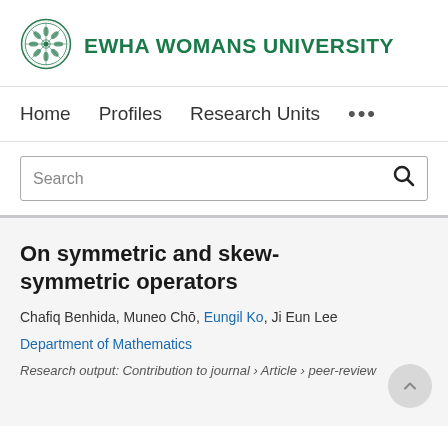[Figure (logo): Ewha Womans University circular seal/logo in green]
EWHA WOMANS UNIVERSITY
Home   Profiles   Research Units   ...
Search
On symmetric and skew-symmetric operators
Chafiq Benhida, Muneo Chō, Eungil Ko, Ji Eun Lee
Department of Mathematics
Research output: Contribution to journal › Article › peer-review